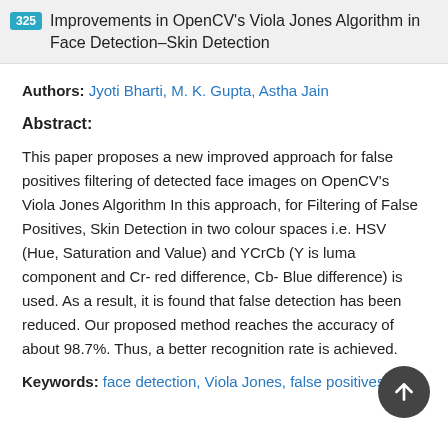325 Improvements in OpenCV's Viola Jones Algorithm in Face Detection–Skin Detection
Authors: Jyoti Bharti, M. K. Gupta, Astha Jain
Abstract:
This paper proposes a new improved approach for false positives filtering of detected face images on OpenCV's Viola Jones Algorithm In this approach, for Filtering of False Positives, Skin Detection in two colour spaces i.e. HSV (Hue, Saturation and Value) and YCrCb (Y is luma component and Cr- red difference, Cb- Blue difference) is used. As a result, it is found that false detection has been reduced. Our proposed method reaches the accuracy of about 98.7%. Thus, a better recognition rate is achieved.
Keywords: face detection, Viola Jones, false positives,